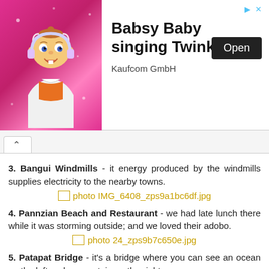[Figure (photo): Advertisement banner: Babsy Baby singing Twinkle by Kaufcom GmbH, with animated baby character on pink background and an Open button]
3. Bangui Windmills - it energy produced by the windmills supplies electricity to the nearby towns.
[Figure (photo): Broken image placeholder: photo IMG_6408_zps9a1bc6df.jpg]
4. Pannzian Beach and Restaurant - we had late lunch there while it was storming outside; and we loved their adobo.
[Figure (photo): Broken image placeholder: photo 24_zps9b7c650e.jpg]
5. Patapat Bridge - it's a bridge where you can see an ocean on the left and a mountain on the right.
[Figure (photo): Broken image placeholder: photo IMG_6423_zps457d0c46.jpg]